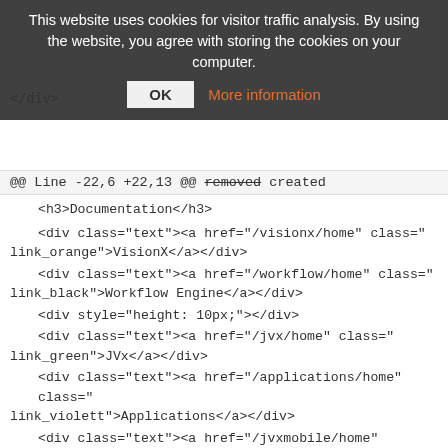Create an invoice application</a> </div>
This website uses cookies for visitor traffic analysis. By using the website, you agree with storing the cookies on your computer.
OK   More information
</div>
@@ Line -22,6 +22,13 @@ removed created
<h3>Documentation</h3>
<div class="text"><a href="/visionx/home" class="link_orange">VisionX</a></div>
<div class="text"><a href="/workflow/home" class="link_black">Workflow Engine</a></div>
<div style="height: 10px;"></div>
<div class="text"><a href="/jvx/home" class="link_green">JVx</a></div>
<div class="text"><a href="/applications/home" class="link_violett">Applications</a></div>
<div class="text"><a href="/jvxmobile/home" class="link_green">Mobile</a></div>
<div style="height: 10px;"></div>
<div class="text"><a href="/vaadin/home" class="link_bluelink_lightblue">Vaadin UI</a></div>
<div class="text"><a href="/flutter/home" class="